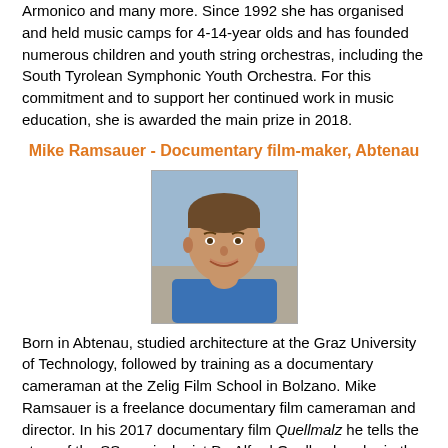Armonico and many more. Since 1992 she has organised and held music camps for 4-14-year olds and has founded numerous children and youth string orchestras, including the South Tyrolean Symphonic Youth Orchestra. For this commitment and to support her continued work in music education, she is awarded the main prize in 2018.
Mike Ramsauer - Documentary film-maker, Abtenau
[Figure (photo): Headshot of Mike Ramsauer, a young man with short brown hair, smiling, wearing a blue shirt, photographed outdoors.]
Born in Abtenau, studied architecture at the Graz University of Technology, followed by training as a documentary cameraman at the Zelig Film School in Bolzano. Mike Ramsauer is a freelance documentary film cameraman and director. In his 2017 documentary film Quellmalz he tells the story of the SS musicologist Dr. Alfred Quellmalz, who in the 1930s and 40s archived the folk songs of the German-speaking South Tyroleans being assimilated into the German Empire. For this portrait of customs caught between two dictatorships, he receives the Hubert von Goisern Culture Award.
Margarethe Hlawa - Cultural event organiser, Hallein